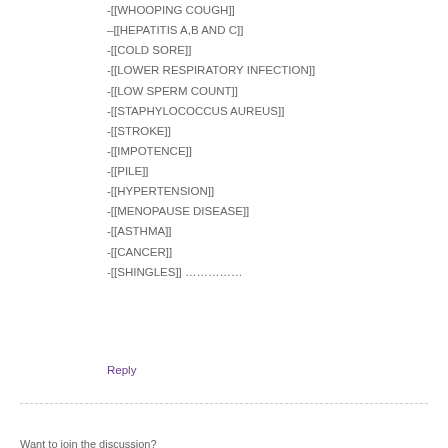-[[WHOOPING COUGH]]
–[[HEPATITIS A,B AND C]]
-[[COLD SORE]]
-[[LOWER RESPIRATORY INFECTION]]
-[[LOW SPERM COUNT]]
-[[STAPHYLOCOCCUS AUREUS]]
-[[STROKE]]
-[[IMPOTENCE]]
-[[PILE]]
-[[HYPERTENSION]]
-[[MENOPAUSE DISEASE]]
-[[ASTHMA]]
-[[CANCER]]
-[[SHINGLES]] ……………
Reply
Leave a Reply
Want to join the discussion?